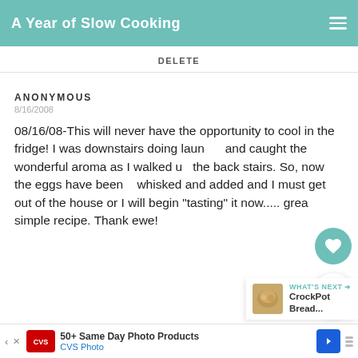A Year of Slow Cooking
DELETE
ANONYMOUS
8/16/2008
08/16/08-This will never have the opportunity to cool in the fridge! I was downstairs doing laundry and caught the wonderful aroma as I walked up the back stairs. So, now the eggs have been whisked and added and I must get out of the house or I will begin "tasting" it now..... great simple recipe. Thank ewe!
DELETE
WHAT'S NEXT → CrockPot Bread...
50+ Same Day Photo Products CVS Photo